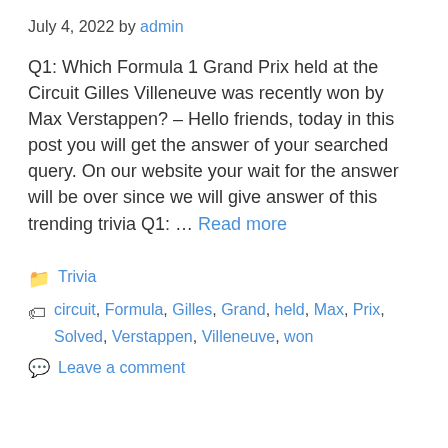July 4, 2022 by admin
Q1: Which Formula 1 Grand Prix held at the Circuit Gilles Villeneuve was recently won by Max Verstappen? – Hello friends, today in this post you will get the answer of your searched query. On our website your wait for the answer will be over since we will give answer of this trending trivia Q1: … Read more
Trivia
circuit, Formula, Gilles, Grand, held, Max, Prix, Solved, Verstappen, Villeneuve, won
Leave a comment